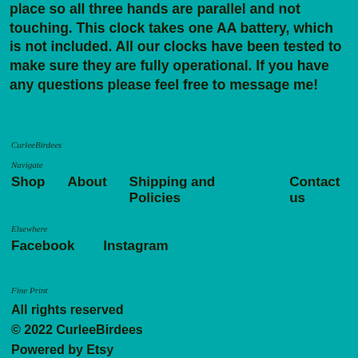place so all three hands are parallel and not touching. This clock takes one AA battery, which is not included. All our clocks have been tested to make sure they are fully operational. If you have any questions please feel free to message me!
CurleeBirdees
Navigate
Shop
About
Shipping and Policies
Contact us
Elsewhere
Facebook
Instagram
Fine Print
All rights reserved
© 2022 CurleeBirdees
Powered by Etsy